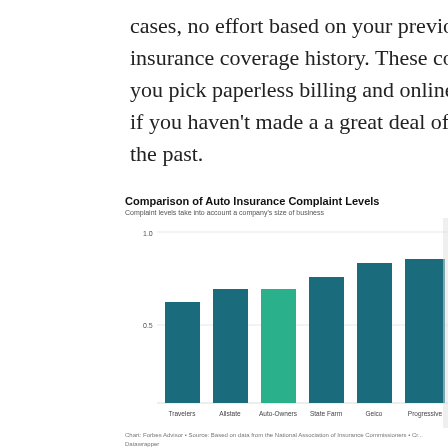cases, no effort based on your previous insurance coverage history. These consist of: if you pick paperless billing and online payments. if you haven't made a a great deal of claims in the past.
[Figure (bar-chart): Comparison of Auto Insurance Complaint Levels]
Chart: Forbes Advisor • Source: Based on data from the National Association of Insurance Commissioners • Cr... Datawrapper